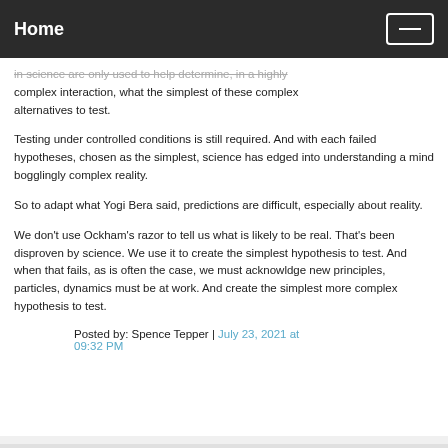Home
in science are only used to help determine, in a highly complex interaction, what the simplest of these complex alternatives to test.
Testing under controlled conditions is still required. And with each failed hypotheses, chosen as the simplest, science has edged into understanding a mind bogglingly complex reality.
So to adapt what Yogi Bera said, predictions are difficult, especially about reality.
We don't use Ockham's razor to tell us what is likely to be real. That's been disproven by science. We use it to create the simplest hypothesis to test. And when that fails, as is often the case, we must acknowldge new principles, particles, dynamics must be at work. And create the simplest more complex hypothesis to test.
Posted by: Spence Tepper | July 23, 2021 at 09:32 PM